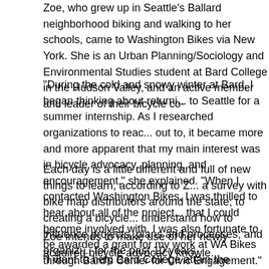Zoe, who grew up in Seattle's Ballard neighborhood biking and walking to her schools, came to Washington Bikes via New York. She is an Urban Planning/Sociology and Environmental Studies student at Bard College in the Hudson Valley, and an active member and leader of their bicycle co-
“During the cold and snowy winter at Bard, I began thinking about returning to Seattle for a summer internship. As I researched organizations to reach out to, it became more and more apparent that my main interest was in bicycle advocacy, planning, and encouragement,” she explained. “When I contacted Washington Bikes, I was thrilled to hear about all of the projects that I could become involved with. I was also fortunate to be awarded a grant for my work at WA Bikes through Bard’s Center for Civic Engagement.”
Each day is a little different and full of new things to learn, according to Z... a survey with bike map distributors around the state; to creating a bicycle... understand how to influence projects, plans and processes; and organizi... for the past 10 years.
Zoe intends to make use of her newly acquired bicycle advocacy knowle...
“I want to help Bard College attain the League of American Bicyclists’ Bic... work on a bicycle map for the Mid-Hudson Valley area to encourage more...